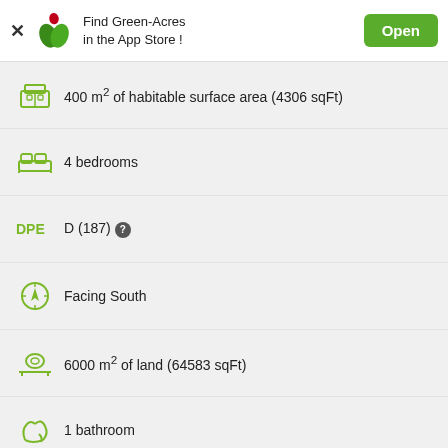[Figure (screenshot): Green-Acres app banner with logo, text 'Find Green-Acres in the App Store!', and green Open button]
400 m² of habitable surface area (4306 sqFt)
4 bedrooms
DPE D (187)
Facing South
6000 m² of land (64583 sqFt)
1 bathroom
GES D (23)
8 rooms
Agency fees included: 4.50% of price